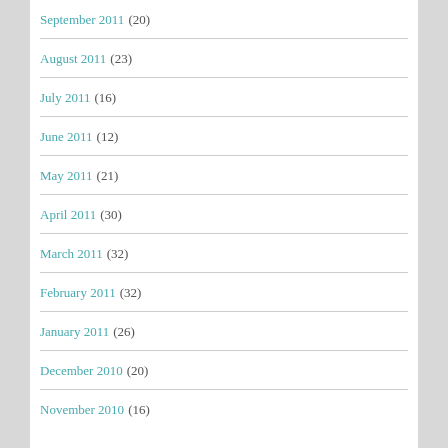September 2011 (20)
August 2011 (23)
July 2011 (16)
June 2011 (12)
May 2011 (21)
April 2011 (30)
March 2011 (32)
February 2011 (32)
January 2011 (26)
December 2010 (20)
November 2010 (16)